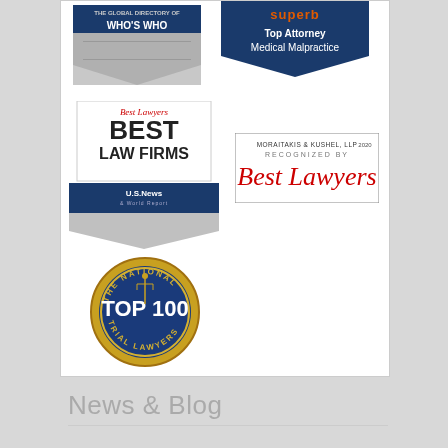[Figure (logo): The Global Directory of Who's Who badge/logo]
[Figure (logo): Superb Top Attorney Medical Malpractice badge]
[Figure (logo): Best Lawyers Best Law Firms U.S. News & World Report 2019 badge]
[Figure (logo): Moraitakis & Kushel LLP 2020 Recognized by Best Lawyers box]
[Figure (logo): The National Trial Lawyers Top 100 medallion/seal]
News & Blog